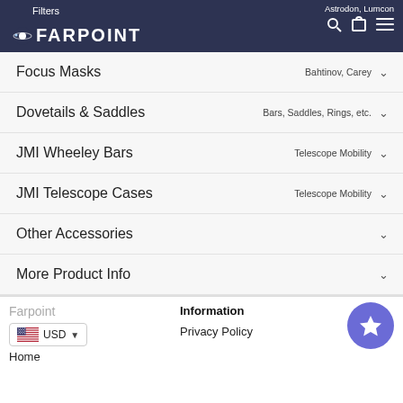Filters | FARPOINT | Astrodon, Lumcon
Focus Masks — Bahtinov, Carey
Dovetails & Saddles — Bars, Saddles, Rings, etc.
JMI Wheeley Bars — Telescope Mobility
JMI Telescope Cases — Telescope Mobility
Other Accessories
More Product Info
Farpoint | USD | Home | Information | Privacy Policy